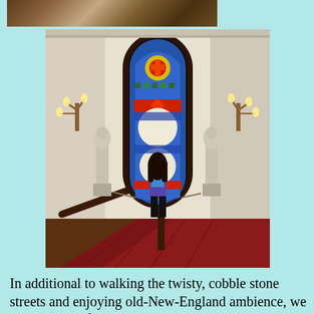[Figure (photo): Partial photo at top of page showing what appears to be ornate wooden furniture or architectural detail with reddish-brown tones]
[Figure (photo): Interior photo of a grand staircase hall featuring a tall stained glass arched window with blue, red, yellow and green geometric patterns. Two classical white statues flank the window on either side. Wall sconces with warm lighting on both walls. A person with long dark hair wearing a blue shirt and purple jacket stands in front of the stained glass window. Red patterned carpet on the stairs in foreground. White ornate walls with decorative molding.]
In additional to walking the twisty, cobble stone streets and enjoying old-New-England ambience, we visiting one of the harbor walks where we had beautiful views and were repeatedly mocked by, you guessed it, Mockingbirds! People who know Portland can identify the islands better than I can.  I definitely think a harbor cruise should be on the agenda for the next visit.